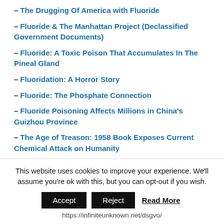– The Drugging Of America with Fluoride
– Fluoride & The Manhattan Project (Declassified Government Documents)
– Fluoride: A Toxic Poison That Accumulates In The Pineal Gland
– Fluoridation: A Horror Story
– Fluoride: The Phosphate Connection
– Fluoride Poisoning Affects Millions in China's Guizhou Province
– The Age of Treason: 1958 Book Exposes Current Chemical Attack on Humanity
– Guess where your fluoride contaminated with heavy
This website uses cookies to improve your experience. We'll assume you're ok with this, but you can opt-out if you wish.
Accept  Reject  Read More
https://infiniteunknown.net/dsgvo/